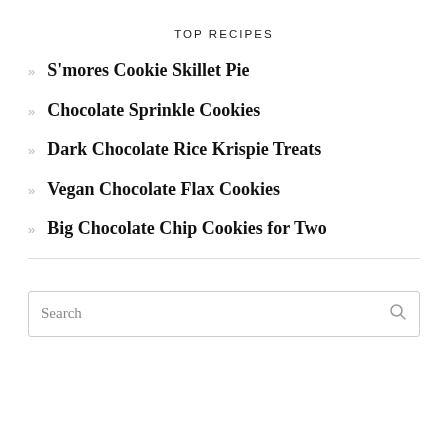TOP RECIPES
S'mores Cookie Skillet Pie
Chocolate Sprinkle Cookies
Dark Chocolate Rice Krispie Treats
Vegan Chocolate Flax Cookies
Big Chocolate Chip Cookies for Two
Search